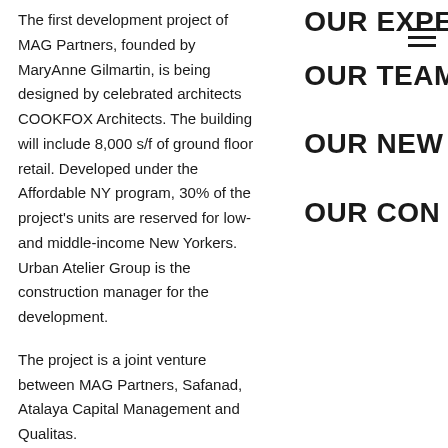The first development project of MAG Partners, founded by MaryAnne Gilmartin, is being designed by celebrated architects COOKFOX Architects. The building will include 8,000 s/f of ground floor retail. Developed under the Affordable NY program, 30% of the project's units are reserved for low- and middle-income New Yorkers. Urban Atelier Group is the construction manager for the development.
The project is a joint venture between MAG Partners, Safanad, Atalaya Capital Management and Qualitas.
MAG Partners previously announced that it had secured a $173 million construction loan from Madison Realty Capital for the project.
OUR EXPE
OUR TEAM
OUR NEW
OUR CON